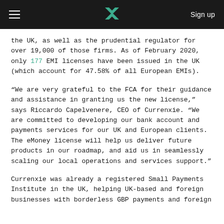☰  [Currenxie logo]  Sign up
the UK, as well as the prudential regulator for over 19,000 of those firms. As of February 2020, only 177 EMI licenses have been issued in the UK (which account for 47.58% of all European EMIs).
"We are very grateful to the FCA for their guidance and assistance in granting us the new license," says Riccardo Capelvenere, CEO of Currenxie. "We are committed to developing our bank account and payments services for our UK and European clients. The eMoney license will help us deliver future products in our roadmap, and aid us in seamlessly scaling our local operations and services support."
Currenxie was already a registered Small Payments Institute in the UK, helping UK-based and foreign businesses with borderless GBP payments and foreign exchange. Now, with the EMI license...